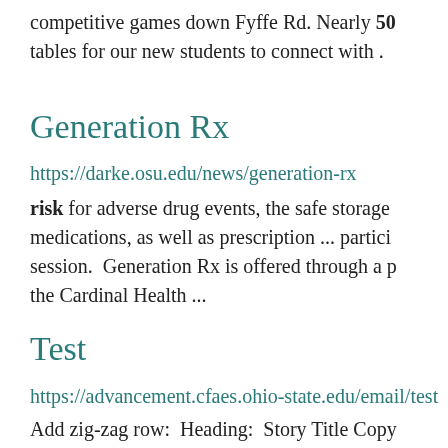competitive games down Fyffe Rd. Nearly 50 tables for our new students to connect with .
Generation Rx
https://darke.osu.edu/news/generation-rx
risk for adverse drug events, the safe storage medications, as well as prescription ... partici session. Generation Rx is offered through a p the Cardinal Health ...
Test
https://advancement.cfaes.ohio-state.edu/email/test
Add zig-zag row: Heading: Story Title Copy Button context: user will be taken ... Heading